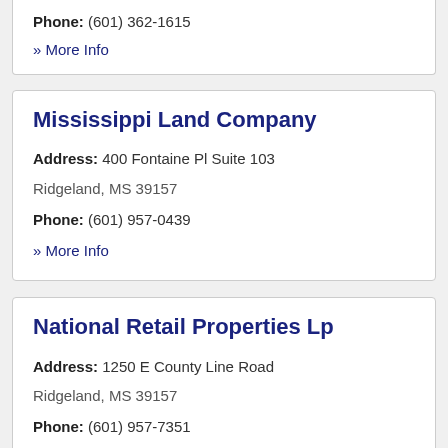Phone: (601) 362-1615
» More Info
Mississippi Land Company
Address: 400 Fontaine Pl Suite 103 Ridgeland, MS 39157
Phone: (601) 957-0439
» More Info
National Retail Properties Lp
Address: 1250 E County Line Road Ridgeland, MS 39157
Phone: (601) 957-7351
» More Info